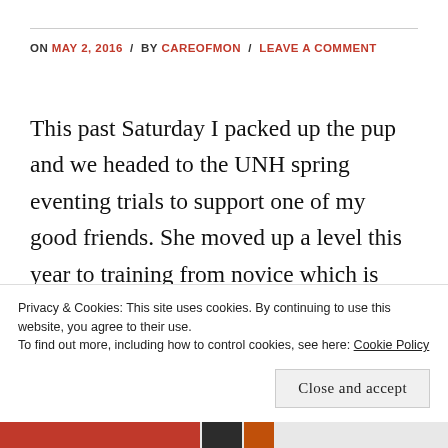ON MAY 2, 2016 / BY CAREOFMON / LEAVE A COMMENT
This past Saturday I packed up the pup and we headed to the UNH spring eventing trials to support one of my good friends. She moved up a level this year to training from novice which is very exciting, and this was her and her horse, Clover’s, first outing of the year. It was a beautiful day, sun shining with a breeze, and we got there in time for my favorite part of supporting a friend
Privacy & Cookies: This site uses cookies. By continuing to use this website, you agree to their use. To find out more, including how to control cookies, see here: Cookie Policy